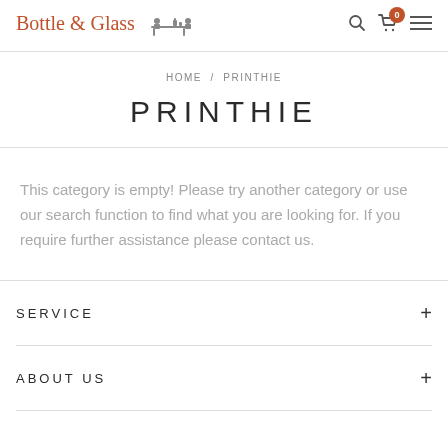Bottle & Glass [logo with figure]
HOME / PRINTHIE
PRINTHIE
This category is empty! Please try another category or use our search function to find what you are looking for. If you require further assistance please contact us.
SERVICE
ABOUT US